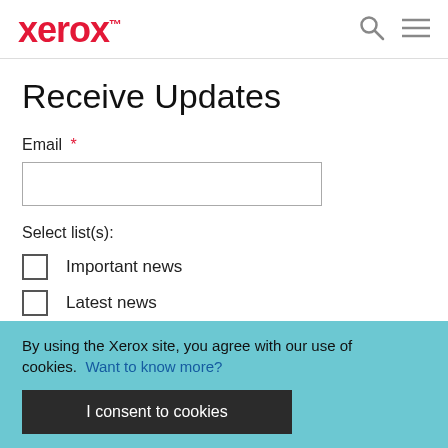xerox™
Receive Updates
Email *
Select list(s):
Important news
Latest news
Monthly roundup
By using the Xerox site, you agree with our use of cookies. Want to know more?
I consent to cookies